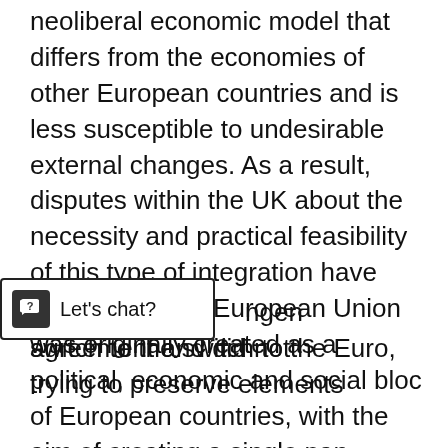neoliberal economic model that differs from the economies of other European countries and is less susceptible to undesirable external changes. As a result, disputes within the UK about the necessity and practical feasibility of this type of integration have intensified. The European Union was originally created as a political, economic and social bloc of European countries, with the aim of creating a single pan-European space. European countries were primarily interested in strengthening their economies, which was the reason for their unification into a single component. However, after joining the European Union, London did not [ngen agreement and did not switch to the Euro, trying to preserve elements of political and economic independence. The very principle of supranational control over the